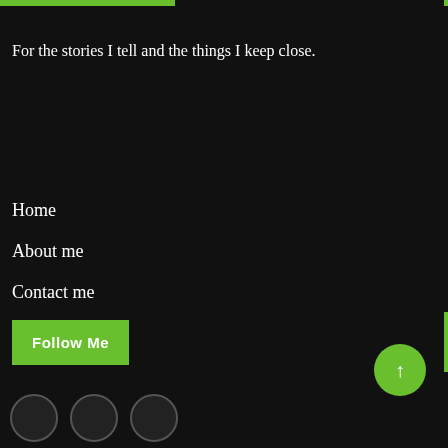For the stories I tell and the things I keep close.
Home
About me
Contact me
Privacy Policy
Follow Me